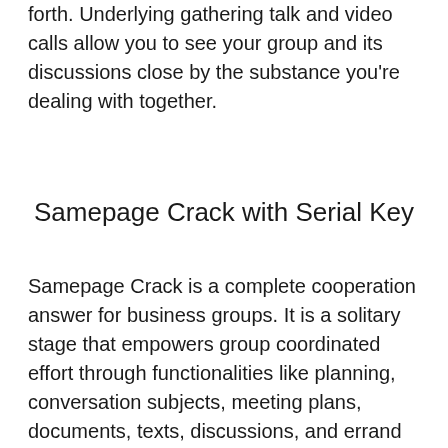forth. Underlying gathering talk and video calls allow you to see your group and its discussions close by the substance you're dealing with together.
Samepage Crack with Serial Key
Samepage Crack is a complete cooperation answer for business groups. It is a solitary stage that empowers group coordinated effort through functionalities like planning, conversation subjects, meeting plans, documents, texts, discussions, and errand records. Samepage is appropriate for a scope of organizations including instructive and non-benefit associations, showcasing offices, and land offices. The application supports cooperation across various groups by tracking appropriate data that can be